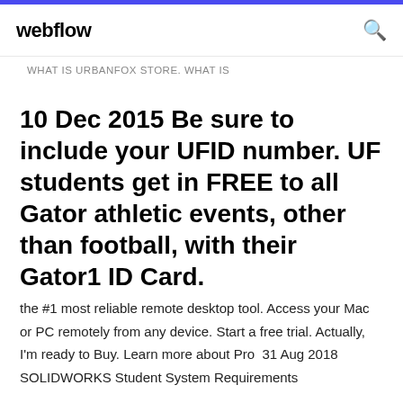webflow
WHAT IS URBANFOX STORE. WHAT IS
10 Dec 2015 Be sure to include your UFID number. UF students get in FREE to all Gator athletic events, other than football, with their Gator1 ID Card.
the #1 most reliable remote desktop tool. Access your Mac or PC remotely from any device. Start a free trial. Actually, I'm ready to Buy. Learn more about Pro  31 Aug 2018 SOLIDWORKS Student System Requirements